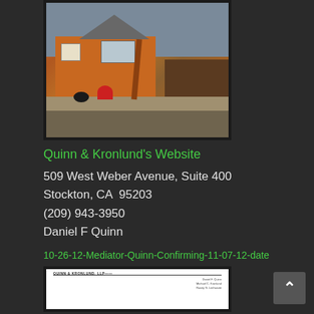[Figure (photo): Construction or renovation scene showing an orange/terracotta colored house with a worker in red clothing near a ladder, debris on the ground, and a wooden fence in the background]
Quinn & Kronlund's Website
509 West Weber Avenue, Suite 400
Stockton, CA  95203
(209) 943-3950
Daniel F Quinn
10-26-12-Mediator-Quinn-Confirming-11-07-12-date
[Figure (photo): Partial view of a Quinn & Kronlund, LLP letterhead document]